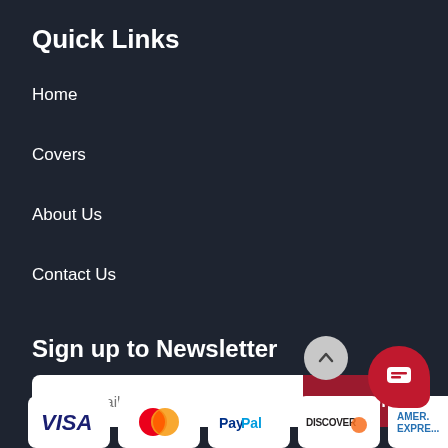Quick Links
Home
Covers
About Us
Contact Us
Sign up to Newsletter
Your email address
SIGN UP
[Figure (logo): Payment method logos: Visa, Mastercard, PayPal, Discover, American Express]